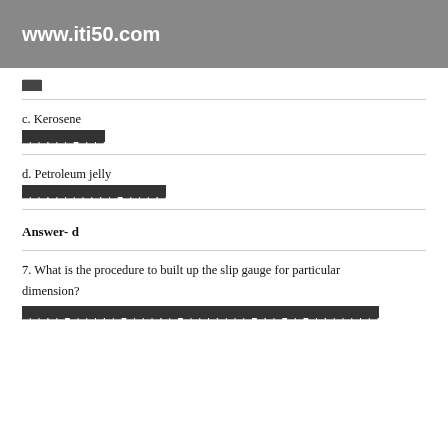www.iti50.com
[blocked text]
c. Kerosene
[blocked hindi text]
d. Petroleum jelly
[blocked hindi text]
Answer- d
7. What is the procedure to built up the slip gauge for particular dimension?
[blocked hindi text]